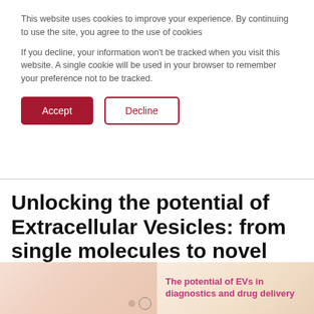This website uses cookies to improve your experience. By continuing to use the site, you agree to the use of cookies
If you decline, your information won't be tracked when you visit this website. A single cookie will be used in your browser to remember your preference not to be tracked.
Unlocking the potential of Extracellular Vesicles: from single molecules to novel therapeutics
[Figure (illustration): Article thumbnail image showing extracellular vesicles with decorative circular elements and a caption about EVs in diagnostics and drug delivery]